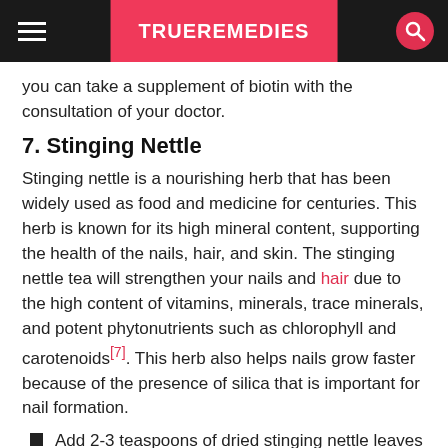TRUEREMEDIES
you can take a supplement of biotin with the consultation of your doctor.
7. Stinging Nettle
Stinging nettle is a nourishing herb that has been widely used as food and medicine for centuries. This herb is known for its high mineral content, supporting the health of the nails, hair, and skin. The stinging nettle tea will strengthen your nails and hair due to the high content of vitamins, minerals, trace minerals, and potent phytonutrients such as chlorophyll and carotenoids[7]. This herb also helps nails grow faster because of the presence of silica that is important for nail formation.
Add 2-3 teaspoons of dried stinging nettle leaves to 1 cup of hot water.